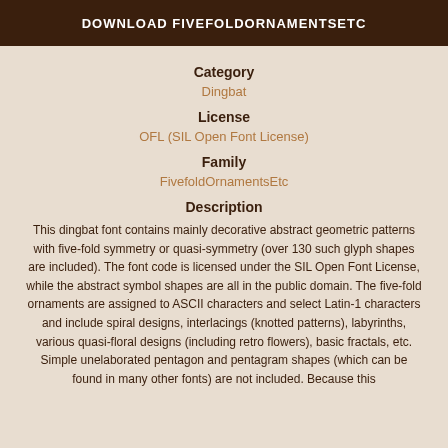DOWNLOAD FIVEFOLDORNAMENTSETC
Category
Dingbat
License
OFL (SIL Open Font License)
Family
FivefoldOrnamentsEtc
Description
This dingbat font contains mainly decorative abstract geometric patterns with five-fold symmetry or quasi-symmetry (over 130 such glyph shapes are included). The font code is licensed under the SIL Open Font License, while the abstract symbol shapes are all in the public domain. The five-fold ornaments are assigned to ASCII characters and select Latin-1 characters and include spiral designs, interlacings (knotted patterns), labyrinths, various quasi-floral designs (including retro flowers), basic fractals, etc. Simple unelaborated pentagon and pentagram shapes (which can be found in many other fonts) are not included. Because this